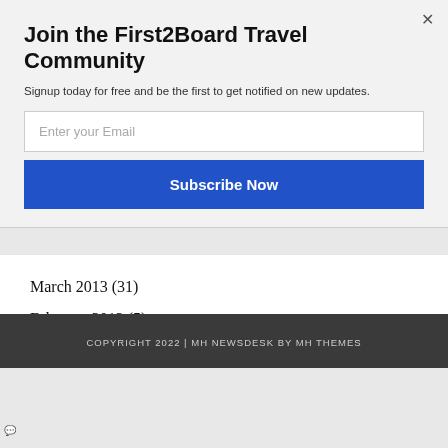Join the First2Board Travel Community
Signup today for free and be the first to get notified on new updates.
Enter your Email
Subscribe Now
March 2013 (31)
February 2013 (5)
January 2013 (14)
December 2012 (5)
COPYRIGHT 2022 | MH NEWSDESK BY MH THEMES